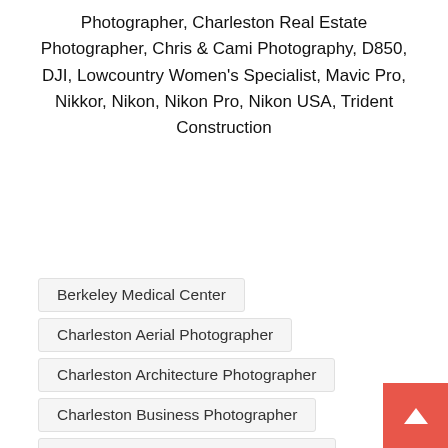Photographer, Charleston Real Estate Photographer, Chris & Cami Photography, D850, DJI, Lowcountry Women's Specialist, Mavic Pro, Nikkor, Nikon, Nikon Pro, Nikon USA, Trident Construction
Berkeley Medical Center
Charleston Aerial Photographer
Charleston Architecture Photographer
Charleston Business Photographer
Charleston Commercial Photographer
Charleston Corporate Photographer
Charleston Drone Photographer
Charleston Interior Photographer
Charleston Real Estate Photographer